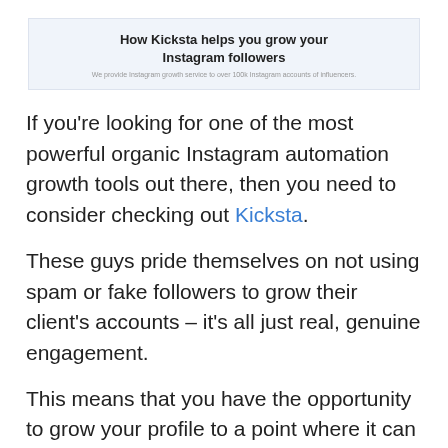[Figure (other): Header box with title 'How Kicksta helps you grow your Instagram followers' and subtitle 'We provide Instagram growth service to over 100k Instagram accounts of influencers.']
If you're looking for one of the most powerful organic Instagram automation growth tools out there, then you need to consider checking out Kicksta.
These guys pride themselves on not using spam or fake followers to grow their client's accounts – it's all just real, genuine engagement.
This means that you have the opportunity to grow your profile to a point where it can be sustained for a long time to come. If you want to get real